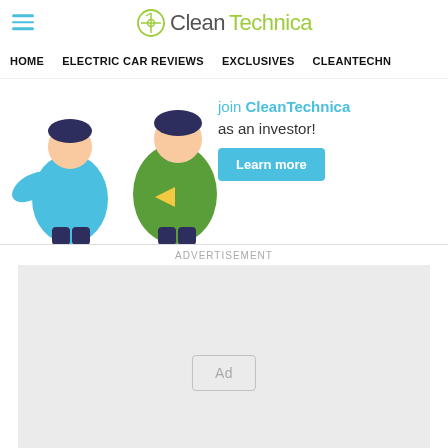CleanTechnica
HOME   ELECTRIC CAR REVIEWS   EXCLUSIVES   CLEANTECHN
[Figure (illustration): Two illustrated characters — a person in blue and a person in green — with text 'join CleanTechnica as an investor!' and a 'Learn more' button in cyan]
ADVERTISEMENT
[Figure (other): Empty advertisement placeholder box with 'Ad' label in center]